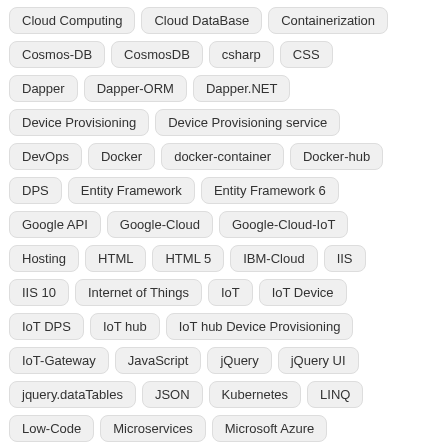Cloud Computing
Cloud DataBase
Containerization
Cosmos-DB
CosmosDB
csharp
CSS
Dapper
Dapper-ORM
Dapper.NET
Device Provisioning
Device Provisioning service
DevOps
Docker
docker-container
Docker-hub
DPS
Entity Framework
Entity Framework 6
Google API
Google-Cloud
Google-Cloud-IoT
Hosting
HTML
HTML 5
IBM-Cloud
IIS
IIS 10
Internet of Things
IoT
IoT Device
IoT DPS
IoT hub
IoT hub Device Provisioning
IoT-Gateway
JavaScript
jQuery
jQuery UI
jquery.dataTables
JSON
Kubernetes
LINQ
Low-Code
Microservices
Microsoft Azure
Microsoft MVP Global Summit 2016
Microsoft-Azure
MVC
MVC 5
No-Code
NoSQL
OpenApi